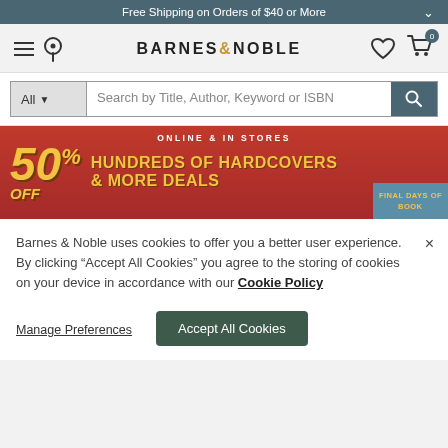Free Shipping on Orders of $40 or More
[Figure (logo): Barnes & Noble logo with hamburger menu, location pin, heart icon, and cart icon with badge showing 0]
[Figure (screenshot): Search bar with 'All' category dropdown and placeholder text 'Search by Title, Author, Keyword or ISBN' with teal search button]
[Figure (infographic): Red promotional banner: ONLINE & IN STORES, 50% OFF HUNDREDS OF HARDCOVERS & MORE DEALS, FINAL DAYS OF BOOK...]
Barnes & Noble uses cookies to offer you a better user experience. By clicking “Accept All Cookies” you agree to the storing of cookies on your device in accordance with our Cookie Policy
Manage Preferences
Accept All Cookies